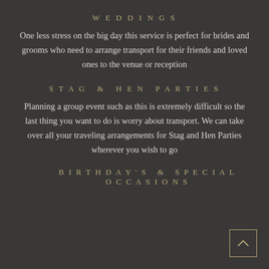WEDDINGS
One less stress on the big day this service is perfect for brides and grooms who need to arrange transport for their friends and loved ones to the venue or reception
STAG & HEN PARTIES
Planning a group event such as this is extremely difficult so the last thing you want to do is worry about transport. We can take over all your traveling arrangements for Stag and Hen Parties wherever you wish to go
BIRTHDAY'S & SPECIAL OCCASIONS